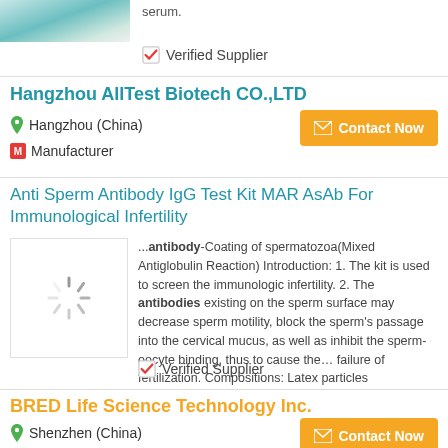[Figure (photo): Product image thumbnail with blue/teal gradient design at top of page]
serum.
✓ Verified Supplier
Hangzhou AllTest Biotech CO.,LTD
Hangzhou (China)
Manufacturer
Contact Now
Anti Sperm Antibody IgG Test Kit MAR AsAb For Immunological Infertility
[Figure (photo): Loading spinner placeholder image for product]
...antibody-Coating of spermatozoa(Mixed Antiglobulin Reaction) Introduction: 1. The kit is used to screen the immunologic infertility. 2. The antibodies existing on the sperm surface may decrease sperm motility, block the sperm's passage into the cervical mucus, as well as inhibit the sperm- oocyte binding, thus to cause the... failure of fertilization. Compositions: Latex particles
✓ Verified Supplier
BRED Life Science Technology Inc.
Shenzhen (China)
Manufacturer
Contact Now